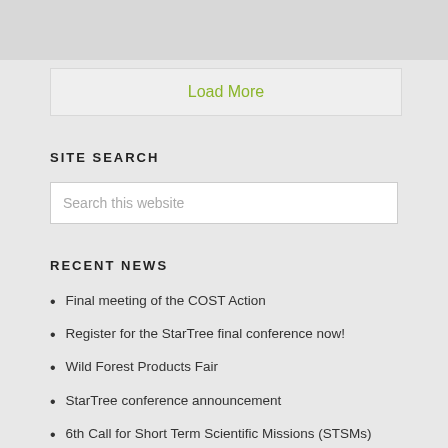Load More
SITE SEARCH
Search this website
RECENT NEWS
Final meeting of the COST Action
Register for the StarTree final conference now!
Wild Forest Products Fair
StarTree conference announcement
6th Call for Short Term Scientific Missions (STSMs)